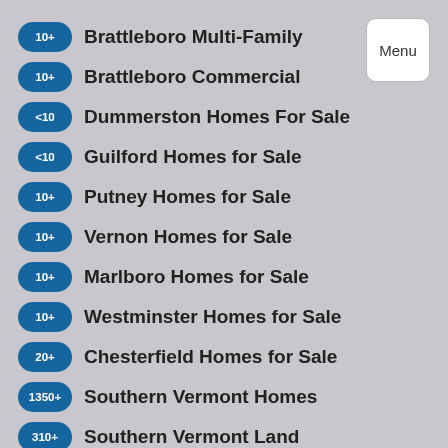10+ Brattleboro Multi-Family
10+ Brattleboro Commercial
<10 Dummerston Homes For Sale
<10 Guilford Homes for Sale
10+ Putney Homes for Sale
10+ Vernon Homes for Sale
10+ Marlboro Homes for Sale
10+ Westminster Homes for Sale
20+ Chesterfield Homes for Sale
1350+ Southern Vermont Homes
310+ Southern Vermont Land